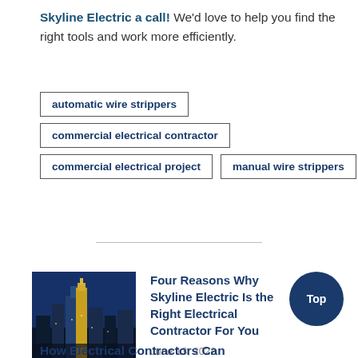Skyline Electric a call! We'd love to help you find the right tools and work more efficiently.
automatic wire strippers
commercial electrical contractor
commercial electrical project
manual wire strippers
[Figure (photo): Night cityscape with illuminated buildings and blue sky]
Four Reasons Why Skyline Electric Is the Right Electrical Contractor For You
June 13, 2022
How Electrical Contractors Can